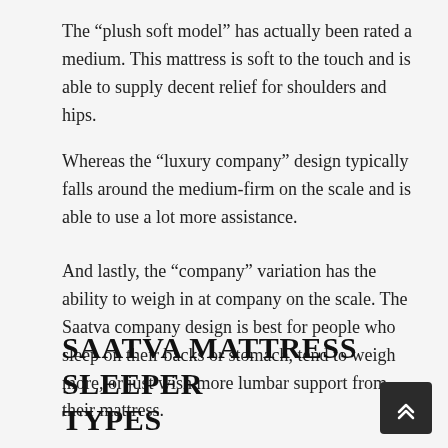The “plush soft model” has actually been rated a medium. This mattress is soft to the touch and is able to supply decent relief for shoulders and hips.
Whereas the “luxury company” design typically falls around the medium-firm on the scale and is able to use a lot more assistance.
And lastly, the “company” variation has the ability to weigh in at company on the scale. The Saatva company design is best for people who sleep on their backs or stomach, tend to weigh more, or just wish more lumbar support from their mattress.
SAATVA MATTRESS SLEEPER TYPES